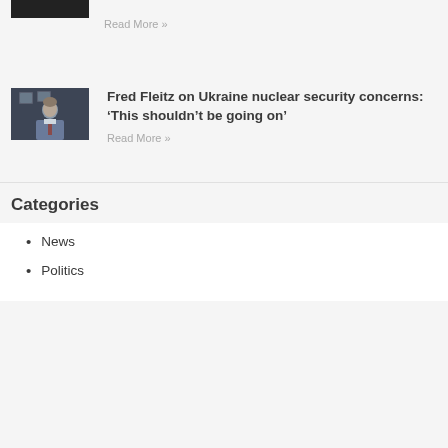Read More »
[Figure (photo): Thumbnail image of a person in a suit sitting in an office with framed photos on the wall behind them]
Fred Fleitz on Ukraine nuclear security concerns: 'This shouldn't be going on'
Read More »
Categories
News
Politics